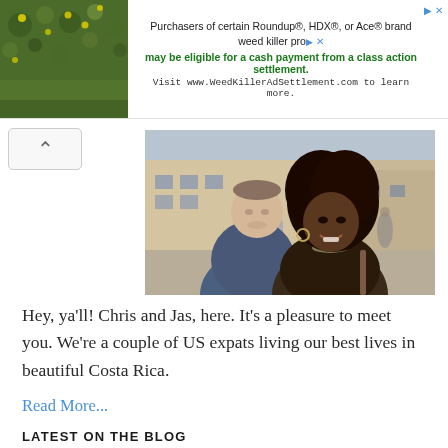[Figure (infographic): Advertisement banner for WeedKillerAdSettlement.com with a green plant photo on the left and text about Roundup, HDX, Ace brand weed killer class action settlement]
Purchasers of certain Roundup®, HDX®, or Ace® brand weed killer products may be eligible for a cash payment from a class action settlement. Visit www.WeedKillerAdSettlement.com to learn more.
[Figure (photo): A couple, a white man and a Black woman with natural hair, smiling together outdoors in an urban setting]
Hey, ya'll! Chris and Jas, here. It's a pleasure to meet you. We're a couple of US expats living our best lives in beautiful Costa Rica.
Read More...
LATEST ON THE BLOG